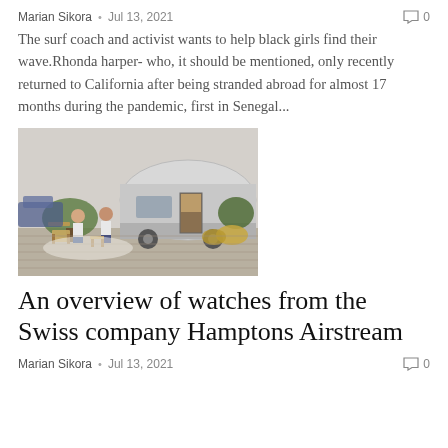Marian Sikora  •  Jul 13, 2021   💬 0
The surf coach and activist wants to help black girls find their wave.Rhonda harper- who, it should be mentioned, only recently returned to California after being stranded abroad for almost 17 months during the pandemic, first in Senegal...
[Figure (photo): Two men sitting in chairs outside an Airstream trailer surrounded by plants on a wooden deck]
An overview of watches from the Swiss company Hamptons Airstream
Marian Sikora  •  Jul 13, 2021   💬 0